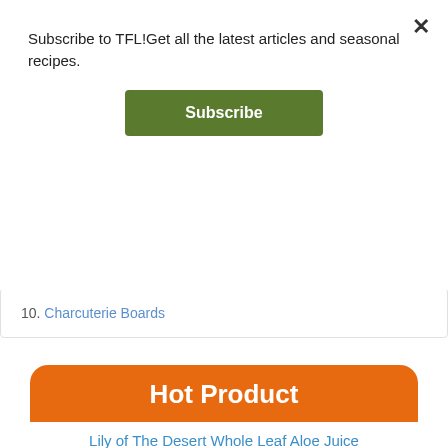Subscribe to TFL!Get all the latest articles and seasonal recipes.
Subscribe
10. Charcuterie Boards
Hot Product
Lily of The Desert Whole Leaf Aloe Juice
[Figure (photo): Bottle of Lily of the Desert Whole Leaf Aloe Juice, dark bottle with label, partially visible]